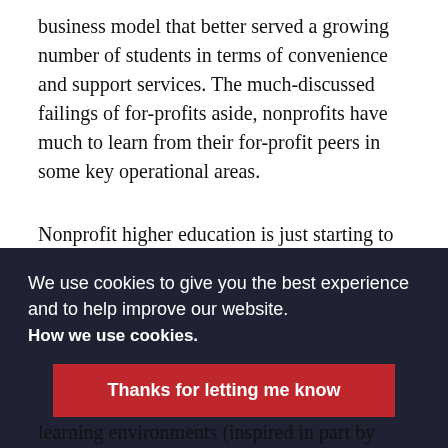business model that better served a growing number of students in terms of convenience and support services. The much-discussed failings of for-profits aside, nonprofits have much to learn from their for-profit peers in some key operational areas.
Nonprofit higher education is just starting to catch up with the for-profit business model innovation. Newly emerging technologies
We use cookies to give you the best experience and to help improve our website. How we use cookies.
Thanks for letting me know
learning environments (inspired in part by